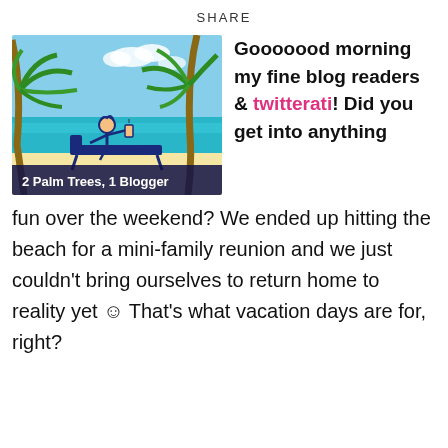SHARE
[Figure (illustration): Beach scene photo with palm trees and turquoise ocean. In the foreground is a cartoon illustration of a stick figure person lounging on a beach chair with a drink. A dark blue banner at the bottom reads '2 Palm Trees, 1 Blogger'.]
Gooooood morning my fine blog readers & twitterati! Did you get into anything fun over the weekend? We ended up hitting the beach for a mini-family reunion and we just couldn't bring ourselves to return home to reality yet ☺ That's what vacation days are for, right?